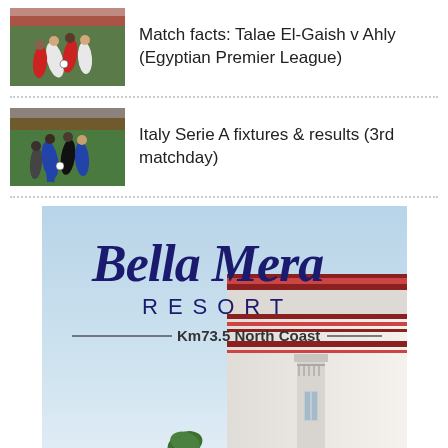[Figure (photo): Soccer match photo showing players in white and red jerseys competing on a football pitch]
Match facts: Talae El-Gaish v Ahly (Egyptian Premier League)
[Figure (photo): Soccer match photo showing players in blue/black and dark jerseys competing on a football pitch]
Italy Serie A fixtures & results (3rd matchday)
[Figure (illustration): Advertisement for Bella Mera Resort - Km73.5 North Coast, showing a luxury resort building with decorative script logo against a blue sky]